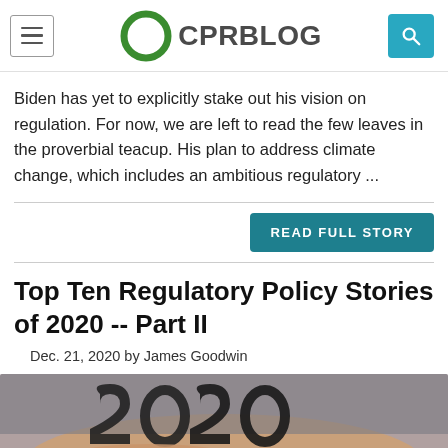CPR BLOG
Biden has yet to explicitly stake out his vision on regulation. For now, we are left to read the few leaves in the proverbial teacup. His plan to address climate change, which includes an ambitious regulatory ...
READ FULL STORY
Top Ten Regulatory Policy Stories of 2020 -- Part II
Dec. 21, 2020 by James Goodwin
[Figure (photo): Hands holding dark metallic 2020 numerals against a blurred background]